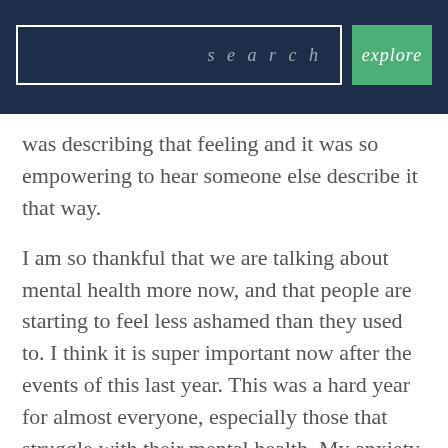search | explore
was describing that feeling and it was so empowering to hear someone else describe it that way.
I am so thankful that we are talking about mental health more now, and that people are starting to feel less ashamed than they used to. I think it is super important now after the events of this last year. This was a hard year for almost everyone, especially those that struggle with their mental health. My anxiety was definitely heightened